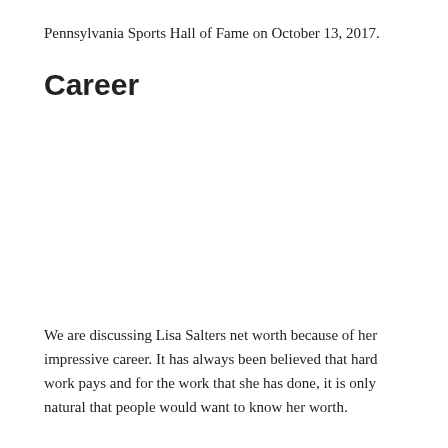Pennsylvania Sports Hall of Fame on October 13, 2017.
Career
We are discussing Lisa Salters net worth because of her impressive career. It has always been believed that hard work pays and for the work that she has done, it is only natural that people would want to know her worth.